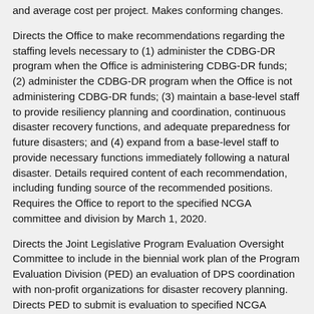and average cost per project. Makes conforming changes.
Directs the Office to make recommendations regarding the staffing levels necessary to (1) administer the CDBG-DR program when the Office is administering CDBG-DR funds; (2) administer the CDBG-DR program when the Office is not administering CDBG-DR funds; (3) maintain a base-level staff to provide resiliency planning and coordination, continuous disaster recovery functions, and adequate preparedness for future disasters; and (4) expand from a base-level staff to provide necessary functions immediately following a natural disaster. Details required content of each recommendation, including funding source of the recommended positions. Requires the Office to report to the specified NCGA committee and division by March 1, 2020.
Directs the Joint Legislative Program Evaluation Oversight Committee to include in the biennial work plan of the Program Evaluation Division (PED) an evaluation of DPS coordination with non-profit organizations for disaster recovery planning. Directs PED to submit is evaluation to specified NCGA committees.
Amends Section 1.1 of SL 2019-224 to decrease the transfer required from the Hurricane Florence Disaster Recovery Reserve to the Hurricane Florence Disaster Recovery Fund